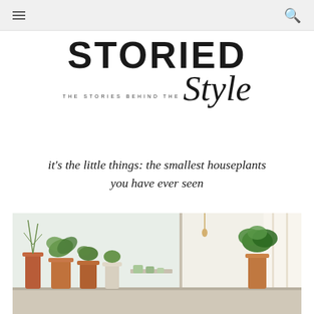STORIED Style — THE STORIES BEHIND THE Style
it's the little things: the smallest houseplants you have ever seen
[Figure (photo): Small potted houseplants lined up on a windowsill with natural light coming through sheer curtains]